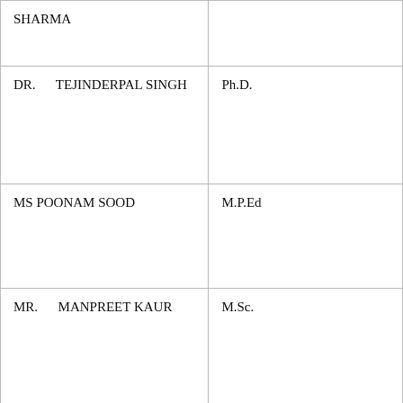| Name | Qualification |
| --- | --- |
| SHARMA |  |
| DR. TEJINDERPAL SINGH | Ph.D. |
| MS POONAM SOOD | M.P.Ed |
| MR. MANPREET KAUR | M.Sc. |
| SH. VISHNU K. SHELLEY | Eng, 1977-1979 |